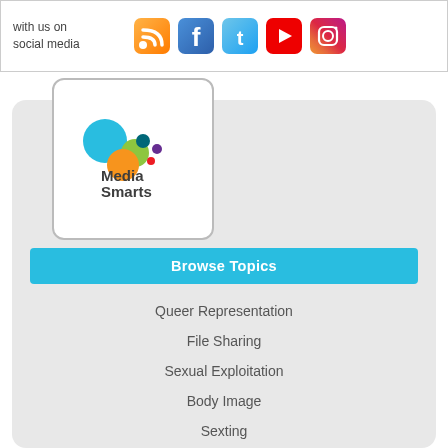with us on social media
[Figure (logo): Social media icons: RSS, Facebook, Twitter, YouTube, Instagram]
[Figure (logo): MediaSmarts logo with colorful circles and text]
Browse Topics
Queer Representation
File Sharing
Sexual Exploitation
Body Image
Sexting
Human Rights